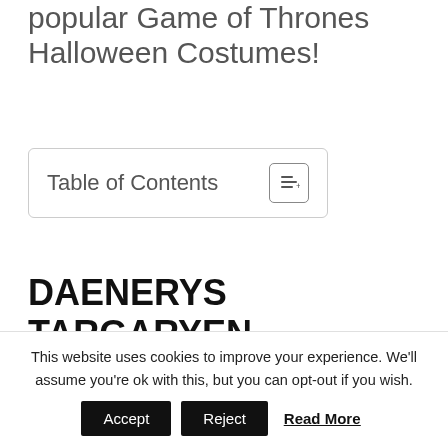popular Game of Thrones Halloween Costumes!
Table of Contents
DAENERYS TARGARYEN COSTUME
[Figure (photo): Partial photo of a person wearing a white/silver wig, shown from the top of head, cropped at bottom of page]
This website uses cookies to improve your experience. We'll assume you're ok with this, but you can opt-out if you wish.
Accept  Reject  Read More